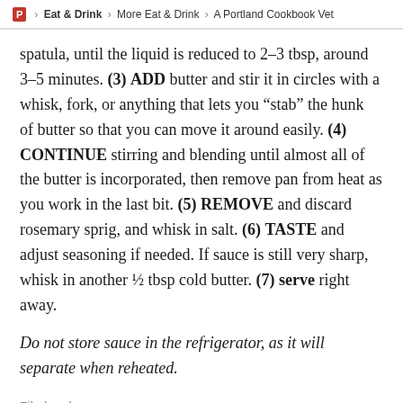P > Eat & Drink > More Eat & Drink > A Portland Cookbook Vet
spatula, until the liquid is reduced to 2–3 tbsp, around 3–5 minutes. (3) ADD butter and stir it in circles with a whisk, fork, or anything that lets you "stab" the hunk of butter so that you can move it around easily. (4) CONTINUE stirring and blending until almost all of the butter is incorporated, then remove pan from heat as you work in the last bit. (5) REMOVE and discard rosemary sprig, and whisk in salt. (6) TASTE and adjust seasoning if needed. If sauce is still very sharp, whisk in another ½ tbsp cold butter. (7) serve right away.
Do not store sauce in the refrigerator, as it will separate when reheated.
Filed under
Sides, Savor